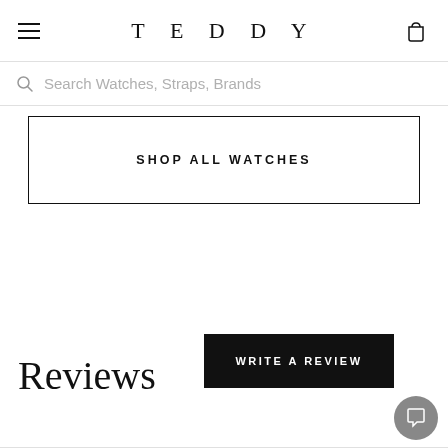TEDDY
Search Watches, Straps, Brands
SHOP ALL WATCHES
Reviews
WRITE A REVIEW